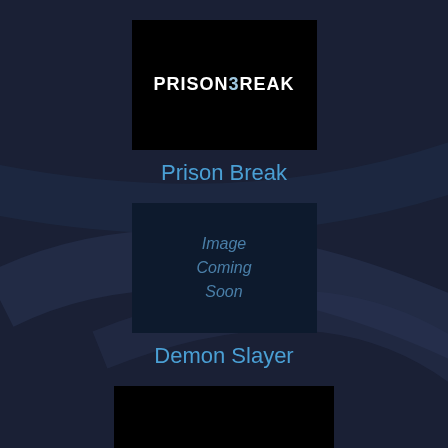[Figure (logo): Prison Break TV show logo — white text on black background]
Prison Break
[Figure (illustration): Image Coming Soon placeholder box with blue-grey background and italic text]
Demon Slayer
[Figure (logo): Shameless TV show logo — white lowercase text on black background]
Shameless (US)